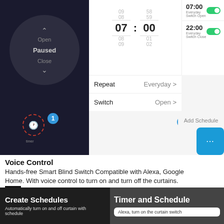[Figure (screenshot): Smart curtain app control interface showing curtain open/pause/close controls on dark background with numbered badge 1 over timer icon]
[Figure (screenshot): Schedule setup screen showing time picker set to 07:00, Repeat Everyday, Switch Open. Right panel shows 07:00 Everyday Switch Open and 22:00 Everyday Switch Close with green toggles. Numbered badges 2 and 3. Add Schedule button and chat icon.]
Voice Control
Hands-free Smart Blind Switch Compatible with Alexa, Google Home. With voice control to turn on and turn off the curtains.TOP
[Figure (infographic): Bottom banner split: left side dark overlay with 'Create Schedules' title and 'Automatically turn on and off curtain with schedule' subtitle. Right side with 'Timer and Schedule' title and speech bubble saying 'Alexa, turn on the curtain switch'.]